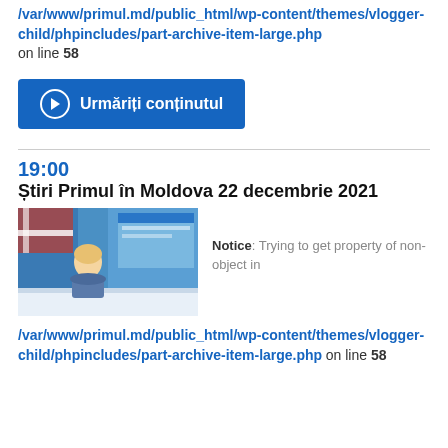/var/www/primul.md/public_html/wp-content/themes/vlogger-child/phpincludes/part-archive-item-large.php on line 58
[Figure (other): Blue button with play icon labeled 'Urmăriți conținutul']
19:00
Știri Primul în Moldova 22 decembrie 2021
[Figure (screenshot): Thumbnail image of a news anchor at a TV studio desk with blue background and flags]
Notice: Trying to get property of non-object in /var/www/primul.md/public_html/wp-content/themes/vlogger-child/phpincludes/part-archive-item-large.php on line 58